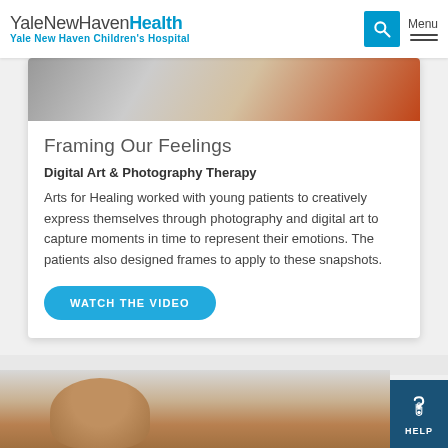YaleNewHavenHealth Yale New Haven Children's Hospital
[Figure (photo): Partial view of a photo showing orange fabric/clothing and a surface — top portion of an article card image]
Framing Our Feelings
Digital Art & Photography Therapy
Arts for Healing worked with young patients to creatively express themselves through photography and digital art to capture moments in time to represent their emotions. The patients also designed frames to apply to these snapshots.
WATCH THE VIDEO
[Figure (photo): Child with curly red/auburn hair in a colorful room, partially visible — bottom section of the page]